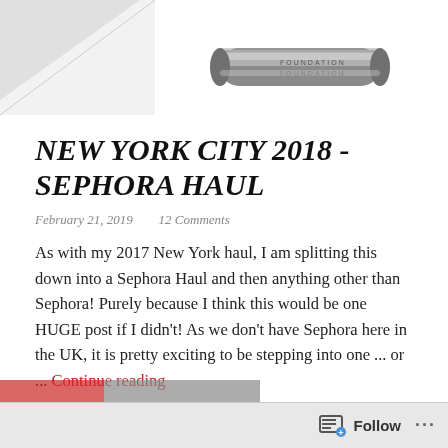[Figure (photo): Top portion of a blog page showing product images at the top — a silver mascara tube in center and partial diagonal image on left, against white background.]
NEW YORK CITY 2018 - SEPHORA HAUL
February 21, 2019   12 Comments
As with my 2017 New York haul, I am splitting this down into a Sephora Haul and then anything other than Sephora! Purely because I think this would be one HUGE post if I didn't! As we don't have Sephora here in the UK, it is pretty exciting to be stepping into one ... or ... Continue reading
Follow ...